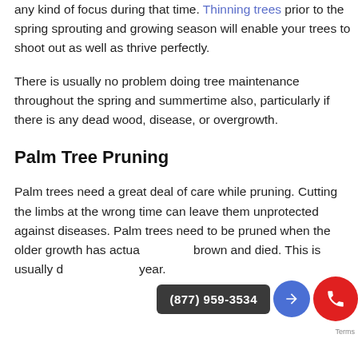any kind of focus during that time. Thinning trees prior to the spring sprouting and growing season will enable your trees to shoot out as well as thrive perfectly.
There is usually no problem doing tree maintenance throughout the spring and summertime also, particularly if there is any dead wood, disease, or overgrowth.
Palm Tree Pruning
Palm trees need a great deal of care while pruning. Cutting the limbs at the wrong time can leave them unprotected against diseases. Palm trees need to be pruned when the older growth has actually turned brown and died. This is usually done once per year.